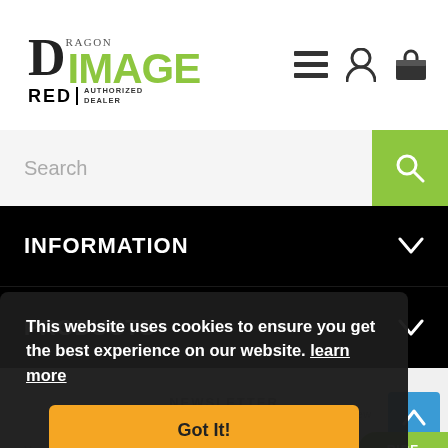[Figure (logo): Dragon Image RED Authorized Dealer logo with green IMAGE text]
Search
INFORMATION
PRODUCTS
NEWSLETTER
This website uses cookies to ensure you get the best experience on our website. learn more
Got It!